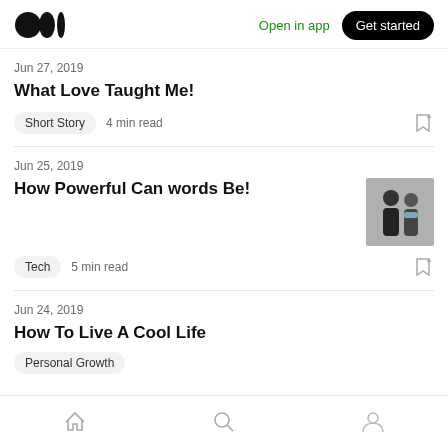Medium logo | Open in app | Get started
Jun 27, 2019
What Love Taught Me!
Short Story  4 min read
Jun 25, 2019
How Powerful Can words Be!
Tech  5 min read
[Figure (photo): Two people in dark coats talking closely, black and white thumbnail image]
Jun 24, 2019
How To Live A Cool Life
Home | Search | Profile navigation icons